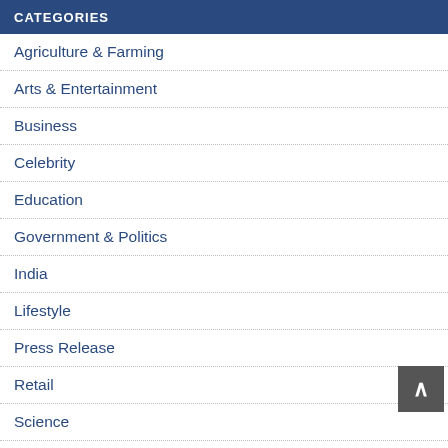CATEGORIES
Agriculture & Farming
Arts & Entertainment
Business
Celebrity
Education
Government & Politics
India
Lifestyle
Press Release
Retail
Science
Shopping
Sports
Spotlight